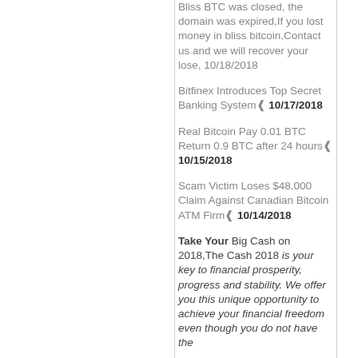Bliss BTC was closed, the domain was expired,If you lost money in bliss bitcoin,Contact us and we will recover your lose, 10/18/2018
Bitfinex Introduces Top Secret Banking System 10/17/2018
Real Bitcoin Pay 0.01 BTC Return 0.9 BTC after 24 hours 10/15/2018
Scam Victim Loses $48,000 Claim Against Canadian Bitcoin ATM Firm 10/14/2018
Take Your Big Cash on 2018,The Cash 2018 is your key to financial prosperity, progress and stability. We offer you this unique opportunity to achieve your financial freedom even though you do not have the